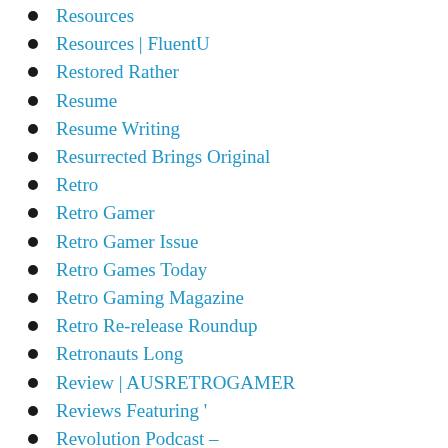Resources
Resources | FluentU
Restored Rather
Resume
Resume Writing
Resurrected Brings Original
Retro
Retro Gamer
Retro Gamer Issue
Retro Games Today
Retro Gaming Magazine
Retro Re-release Roundup
Retronauts Long
Review | AUSRETROGAMER
Reviews Featuring '
Revolution Podcast –
Reward